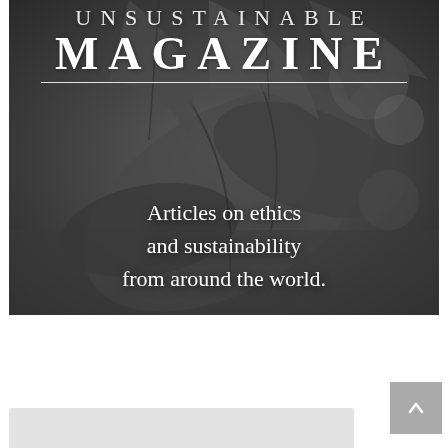[Figure (photo): Black and white photograph of autumn leaves with dramatic bokeh background, overlaid with white text reading 'UNSUSTAINABLE MAGAZINE' and 'Articles on ethics and sustainability from around the world.']
UNSUSTAINABLE MAGAZINE
Articles on ethics and sustainability from around the world.